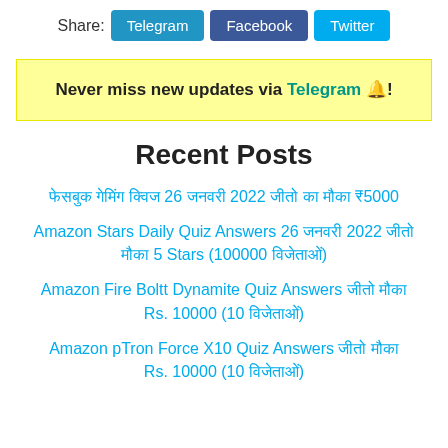Share: Telegram  Facebook  Twitter
Never miss new updates via Telegram 🔔!
Recent Posts
फेसबुक गेमिंग क्विज 26 जनवरी 2022 जीतो का मौका ₹5000
Amazon Stars Daily Quiz Answers 26 जनवरी 2022 जीतो मौका 5 Stars (100000 विजेताओं)
Amazon Fire Boltt Dynamite Quiz Answers जीतो मौका Rs. 10000 (10 विजेताओं)
Amazon pTron Force X10 Quiz Answers जीतो मौका Rs. 10000 (10 विजेताओं)